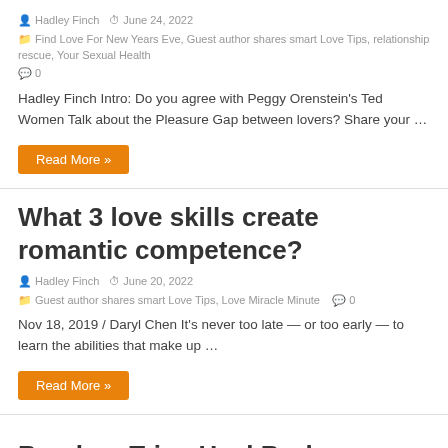Hadley Finch  June 24, 2022
Find Love For New Years Eve, Guest author shares smart Love Tips, relationship rescue, Your Sexual Health
0
Hadley Finch Intro:  Do you agree with Peggy Orenstein's Ted Women Talk about the Pleasure Gap between lovers? Share your …
Read More »
What 3 love skills create romantic competence?
Hadley Finch  June 20, 2022
Guest author shares smart Love Tips, Love Miracle Minute  0
Nov 18, 2019 / Daryl Chen It's never too late — or too early — to learn the abilities that make up …
Read More »
Breakup Trips Heal Broken Hearts?